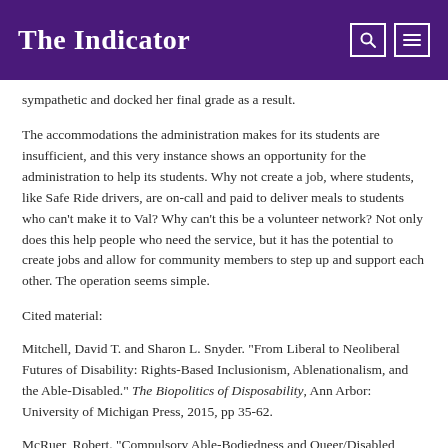The Indicator
sympathetic and docked her final grade as a result.
The accommodations the administration makes for its students are insufficient, and this very instance shows an opportunity for the administration to help its students. Why not create a job, where students, like Safe Ride drivers, are on-call and paid to deliver meals to students who can’t make it to Val? Why can’t this be a volunteer network? Not only does this help people who need the service, but it has the potential to create jobs and allow for community members to step up and support each other. The operation seems simple.
Cited material:
Mitchell, David T. and Sharon L. Snyder. “From Liberal to Neoliberal Futures of Disability: Rights-Based Inclusionism, Ablenationalism, and the Able-Disabled.” The Biopolitics of Disposability, Ann Arbor: University of Michigan Press, 2015, pp 35-62.
McRuer, Robert. “Compulsory Able-Bodiedness and Queer/Disabled